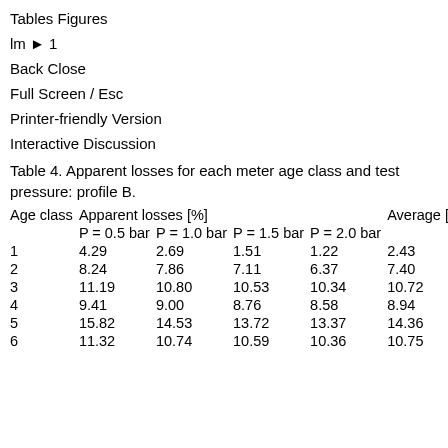Tables Figures
lm ▶ 1
Back Close
Full Screen / Esc
Printer-friendly Version
Interactive Discussion
Table 4. Apparent losses for each meter age class and test pressure: profile B.
| Age class | Apparent losses [%] |  |  |  | Average [%] |
| --- | --- | --- | --- | --- | --- |
|  | P = 0.5 bar | P = 1.0 bar | P = 1.5 bar | P = 2.0 bar |  |
| 1 | 4.29 | 2.69 | 1.51 | 1.22 | 2.43 |
| 2 | 8.24 | 7.86 | 7.11 | 6.37 | 7.40 |
| 3 | 11.19 | 10.80 | 10.53 | 10.34 | 10.72 |
| 4 | 9.41 | 9.00 | 8.76 | 8.58 | 8.94 |
| 5 | 15.82 | 14.53 | 13.72 | 13.37 | 14.36 |
| 6 | 11.32 | 10.74 | 10.59 | 10.36 | 10.75 |